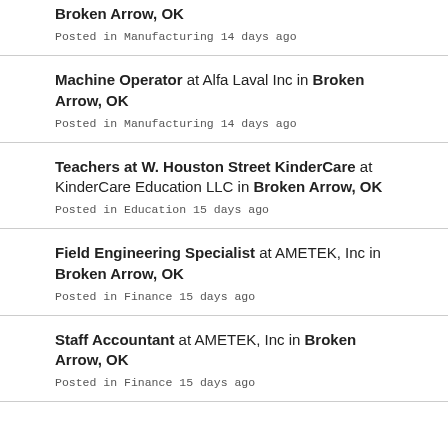Broken Arrow, OK
Posted in Manufacturing 14 days ago
Machine Operator at Alfa Laval Inc in Broken Arrow, OK
Posted in Manufacturing 14 days ago
Teachers at W. Houston Street KinderCare at KinderCare Education LLC in Broken Arrow, OK
Posted in Education 15 days ago
Field Engineering Specialist at AMETEK, Inc in Broken Arrow, OK
Posted in Finance 15 days ago
Staff Accountant at AMETEK, Inc in Broken Arrow, OK
Posted in Finance 15 days ago